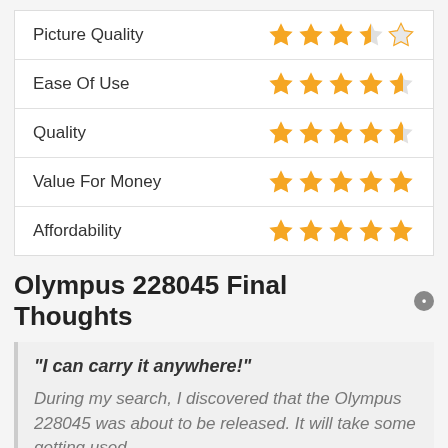| Category | Rating |
| --- | --- |
| Picture Quality | 3.5/5 |
| Ease Of Use | 4.5/5 |
| Quality | 4.5/5 |
| Value For Money | 5/5 |
| Affordability | 5/5 |
Olympus 228045 Final Thoughts
"I can carry it anywhere!"
During my search, I discovered that the Olympus 228045 was about to be released. It will take some getting used